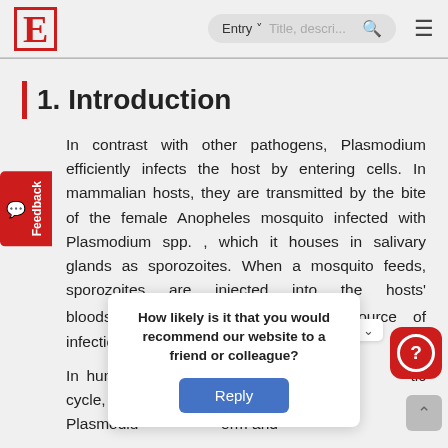E [logo] | Entry ˅ | Title, descri... [search] [menu]
1. Introduction
In contrast with other pathogens, Plasmodium efficiently infects the host by entering cells. In mammalian hosts, they are transmitted by the bite of the female Anopheles mosquito infected with Plasmodium spp. , which it houses in salivary glands as sporozoites. When a mosquito feeds, sporozoites are injected into the hosts' bloodstream [1][2] Another possible source of infection is blood transfusions.
How likely is it that you would recommend our website to a friend or colleague?
In human ... erythrocy... tic cycle, Plasmodium ... orm and